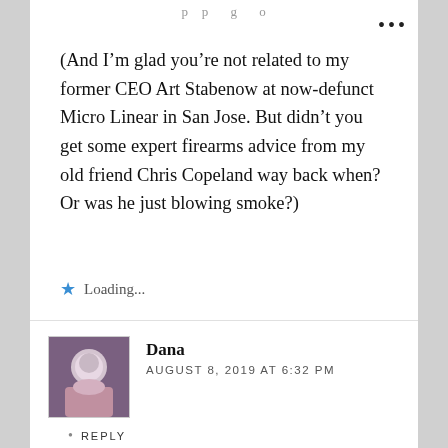p p g
(And I’m glad you’re not related to my former CEO Art Stabenow at now-defunct Micro Linear in San Jose. But didn’t you get some expert firearms advice from my old friend Chris Copeland way back when? Or was he just blowing smoke?)
Loading...
Dana
AUGUST 8, 2019 AT 6:32 PM
REPLY